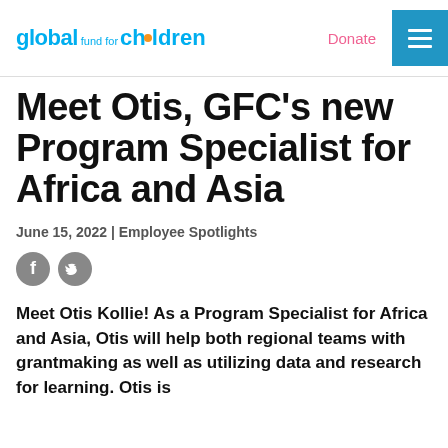global fund for children | Donate
Meet Otis, GFC's new Program Specialist for Africa and Asia
June 15, 2022 | Employee Spotlights
[Figure (illustration): Facebook and Twitter social share icons (circular grey icons with f and bird logos)]
Meet Otis Kollie! As a Program Specialist for Africa and Asia, Otis will help both regional teams with grantmaking as well as utilizing data and research for learning. Otis is